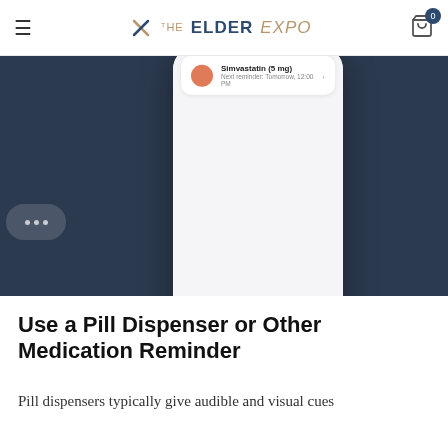THE ELDER EXPO — navigation bar with hamburger menu and cart
[Figure (screenshot): Mobile app screenshot showing a medication reminder app (Simvastatin 5mg, Next reminder: Tomorrow, 12:00 PM) displayed on a smartphone with a dark navy background. The phone shows a bottom navigation bar with Home, Updates, Search, Med Cabinet, and More tabs.]
Use a Pill Dispenser or Other Medication Reminder
Pill dispensers typically give audible and visual cues